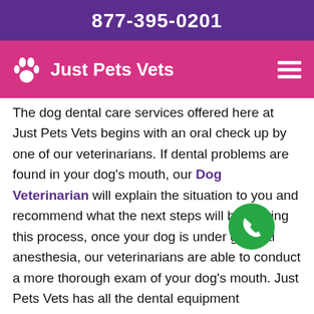877-395-0201
Just Pets Vets
The dog dental care services offered here at Just Pets Vets begins with an oral check up by one of our veterinarians. If dental problems are found in your dog's mouth, our Dog Veterinarian will explain the situation to you and recommend what the next steps will be. During this process, once your dog is under general anesthesia, our veterinarians are able to conduct a more thorough exam of your dog's mouth. Just Pets Vets has all the dental equipment necessary to make your Dog Is Entirely Free of Dental Disease and discomfort.
Anesthetic Dentistry in West Mclean
Unfortunately at Just Pets Vets not all dental procedures